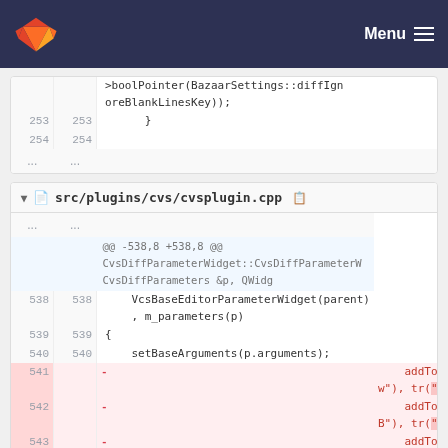GitLab — Menu
[Figure (screenshot): Code diff block showing lines 253-254 and ellipsis for a file, with code: >boolPointer(BazaarSettings::diffIgnoreBlankLinesKey));  }]
src/plugins/cvs/cvsplugin.cpp
[Figure (screenshot): Code diff block for src/plugins/cvs/cvsplugin.cpp showing hunk @@ -538,8 +538,8 @@ CvsDiffParameterWidget::CvsDiffParameterW CvsDiffParameters &p, QWidg, lines 538-543 with deletions on 541 and 542 for addToggleButton calls with QLatin1String("-w") and QLatin1String("-B")]